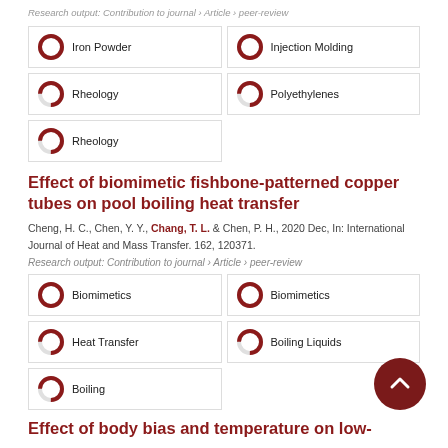Research output: Contribution to journal › Article › peer-review
[Figure (infographic): Keyword boxes with donut/percentage icons: Iron Powder (100%), Injection Molding (100%), Rheology (75%), Polyethylenes (75%), Rheology (75%)]
Effect of biomimetic fishbone-patterned copper tubes on pool boiling heat transfer
Cheng, H. C., Chen, Y. Y., Chang, T. L. & Chen, P. H., 2020 Dec, In: International Journal of Heat and Mass Transfer. 162, 120371.
Research output: Contribution to journal › Article › peer-review
[Figure (infographic): Keyword boxes with donut/percentage icons: Biomimetics (100%), Biomimetics (100%), Heat Transfer (75%), Boiling Liquids (75%), Boiling (75%)]
Effect of body bias and temperature on low-